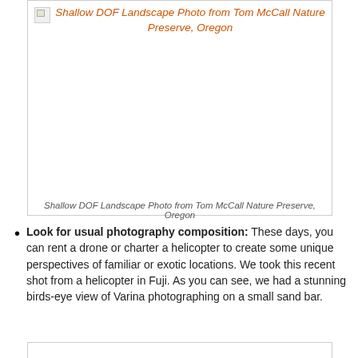[Figure (photo): Broken image placeholder with orange italic link text reading 'Shallow DOF Landscape Photo from Tom McCall Nature Preserve, Oregon'. The image area is mostly blank/white inside a bordered box.]
Shallow DOF Landscape Photo from Tom McCall Nature Preserve, Oregon
Look for usual photography composition: These days, you can rent a drone or charter a helicopter to create some unique perspectives of familiar or exotic locations. We took this recent shot from a helicopter in Fuji. As you can see, we had a stunning birds-eye view of Varina photographing on a small sand bar.